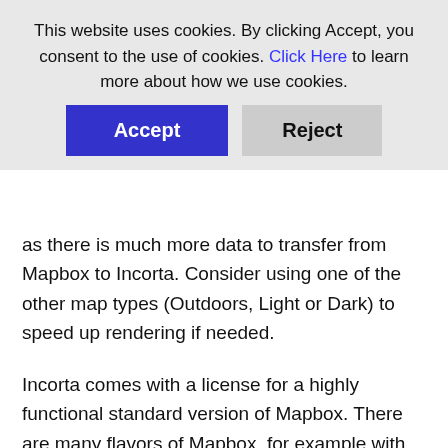This website uses cookies. By clicking Accept, you consent to the use of cookies. Click Here to learn more about how we use cookies.
Accept
Reject
as there is much more data to transfer from Mapbox to Incorta.  Consider using one of the other map types (Outdoors, Light or Dark) to speed up rendering if needed.
Incorta comes with a license for a highly functional standard version of Mapbox.  There are many flavors of Mapbox, for example with the Boundaries product, that allow you to add other features to your maps like congressional districts or neighborhoods as layers that overlay the standard product.  While these do not increase the speed of your map,